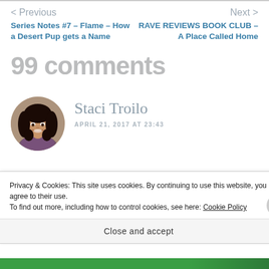< Previous
Next >
Series Notes #7 – Flame – How a Desert Pup gets a Name
RAVE REVIEWS BOOK CLUB – A Place Called Home
99 comments
[Figure (photo): Circular avatar photo of Staci Troilo, a woman with long dark curly hair, smiling, against a brick wall background.]
Staci Troilo
APRIL 21, 2017 AT 23:43
Privacy & Cookies: This site uses cookies. By continuing to use this website, you agree to their use.
To find out more, including how to control cookies, see here: Cookie Policy
Close and accept